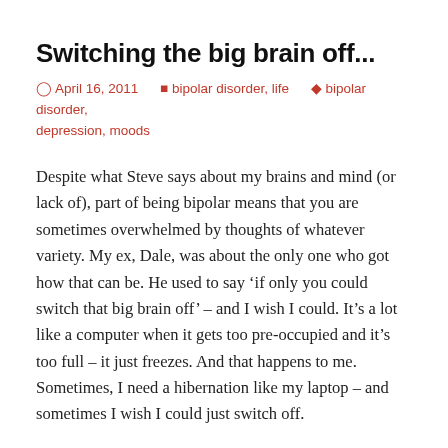Switching the big brain off...
April 16, 2011   bipolar disorder, life   bipolar disorder, depression, moods
Despite what Steve says about my brains and mind (or lack of), part of being bipolar means that you are sometimes overwhelmed by thoughts of whatever variety. My ex, Dale, was about the only one who got how that can be. He used to say ‘if only you could switch that big brain off’ – and I wish I could. It’s a lot like a computer when it gets too pre-occupied and it’s too full – it just freezes. And that happens to me. Sometimes, I need a hibernation like my laptop – and sometimes I wish I could just switch off.
Sometimes bipolar thoughts are great: your mind is